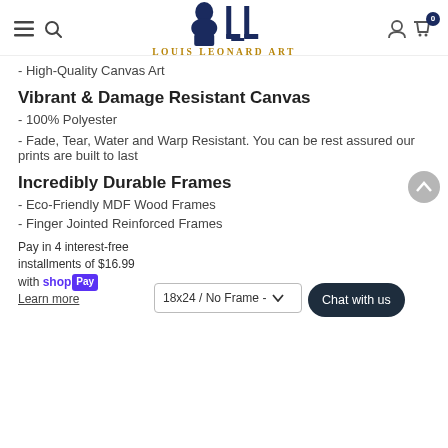Louis Leonard Art
- High-Quality Canvas Art
Vibrant & Damage Resistant Canvas
- 100% Polyester
- Fade, Tear, Water and Warp Resistant. You can be rest assured our prints are built to last
Incredibly Durable Frames
- Eco-Friendly MDF Wood Frames
- Finger Jointed Reinforced Frames
Pay in 4 interest-free installments of $16.99 with shop Pay Learn more
18x24 / No Frame -
Chat with us